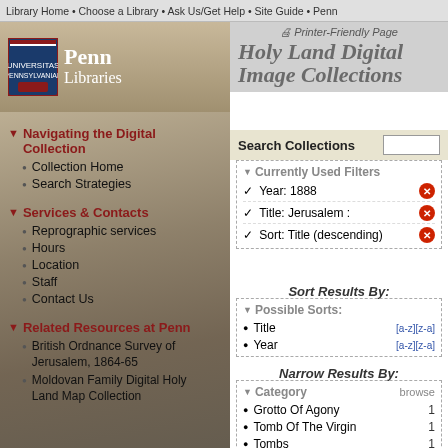Library Home • Choose a Library • Ask Us/Get Help • Site Guide • Penn
[Figure (logo): Penn Libraries shield logo with text 'Penn Libraries']
Printer-Friendly Page
Holy Land Digital Image Collections
Search Collections
Navigating the Digital Collection
Collection Home
Search Strategies
Services & Contacts
Reprographic services
Hours
Location
Staff
Contact Us
Related Resources at Penn
British Ordnance Survey of Jerusalem, 1864-65
Moldovan Family Digital Holy Land Map Collection
Currently Used Filters
✓ Year: 1888
✓ Title: Jerusalem :
✓ Sort: Title (descending)
Sort Results By:
Possible Sorts:
Title [a-z][z-a]
Year [a-z][z-a]
Narrow Results By:
Category browse
Grotto Of Agony 1
Tomb Of The Virgin 1
Tombs 1